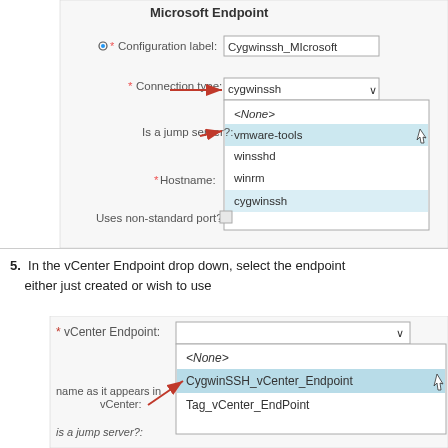[Figure (screenshot): Microsoft Endpoint configuration form showing Connection type dropdown with options: <None>, vmware-tools (highlighted), winsshd, winrm, cygwinssh. Red arrows point to Connection type and Is a jump server fields. Configuration label shows Cygwinssh_MIcrosoft.]
5.  In the vCenter Endpoint drop down, select the endpoint either just created or wish to use
[Figure (screenshot): vCenter Endpoint dropdown showing options: <None>, CygwinSSH_vCenter_Endpoint (selected/highlighted), Tag_vCenter_EndPoint. Red arrow points to CygwinSSH_vCenter_Endpoint. Labels for 'name as it appears in vCenter:' are partially visible.]